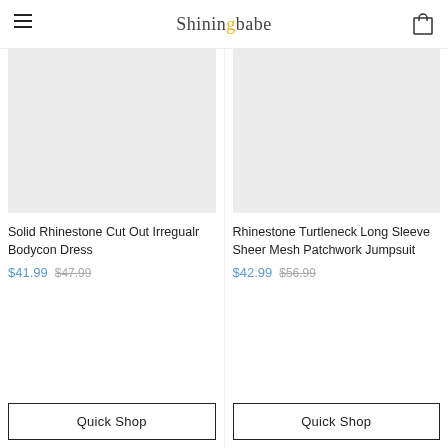Shiningbabe
[Figure (photo): Product image placeholder for Solid Rhinestone Cut Out Irregualr Bodycon Dress - light grey rectangle]
Solid Rhinestone Cut Out Irregualr Bodycon Dress
$41.99  $47.99
[Figure (photo): Product image placeholder for Rhinestone Turtleneck Long Sleeve Sheer Mesh Patchwork Jumpsuit - light grey rectangle]
Rhinestone Turtleneck Long Sleeve Sheer Mesh Patchwork Jumpsuit
$42.99  $56.99
Quick Shop
Quick Shop